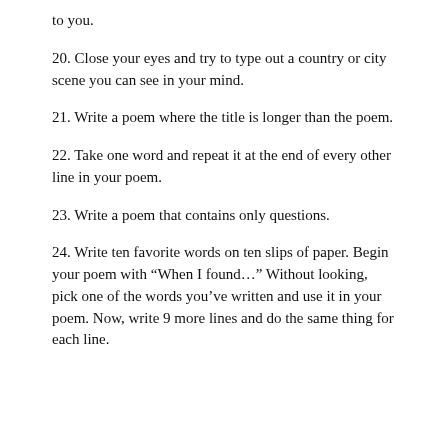to you.
20. Close your eyes and try to type out a country or city scene you can see in your mind.
21. Write a poem where the title is longer than the poem.
22. Take one word and repeat it at the end of every other line in your poem.
23. Write a poem that contains only questions.
24. Write ten favorite words on ten slips of paper. Begin your poem with “When I found…” Without looking, pick one of the words you’ve written and use it in your poem. Now, write 9 more lines and do the same thing for each line.